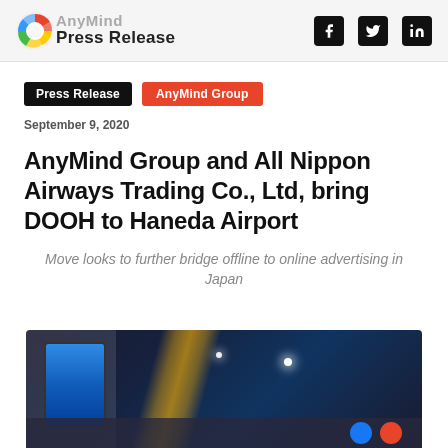AnyMind Press Release
Press Release
AnyMind Group
September 9, 2020
AnyMind Group and All Nippon Airways Trading Co., Ltd, bring DOOH to Haneda Airport
Move looks to further bridge offline to online advertising in Japan
[Figure (photo): Interior of Haneda Airport showing a digital display screen mounted on a wall, with ceiling lights and architectural details visible in a dark terminal corridor]